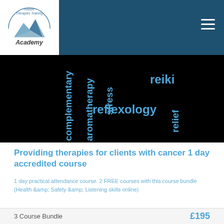[Figure (logo): Holistic Therapies Training Academy logo with mountain graphic]
[Figure (illustration): Black hero banner with blue rotated text words: complementary, aromatherapy, stress, reflexology, reiki, relief]
Providing therapies for clients with cancer 1 day accredited course
1 day practical attendance course. 2 FREE courses with this course bundle (Health &amp; Safety &amp; Listening skills online)
3 Course Bundle
£195